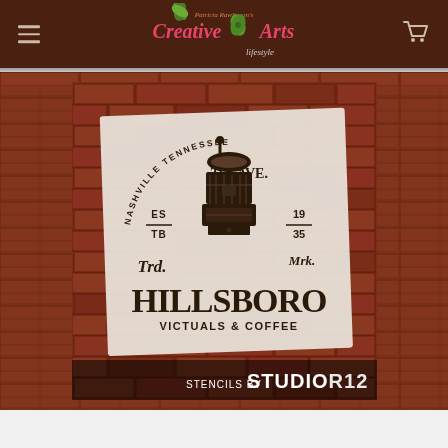Patricia Rawlinson's Creative Arts Lifestyle - navigation header with hamburger menu and cart icon
[Figure (photo): Product photo of a stencil design showing 'Hillsboro Victuals & Coffee' Nashville Tennessee 21st Ave EST 1935 TRD. MRK. with a coffee grinder illustration, stencil on brick background. Bottom text: STENCILS BY STUDIO R12]